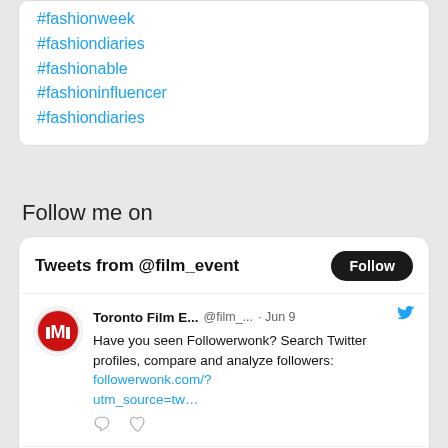#fashionweek
#fashiondiaries
#fashionable
#fashioninfluencer
#fashiondiaries
Follow me on
[Figure (screenshot): Twitter widget showing 'Tweets from @film_event' with a Follow button, and two tweets from Toronto Film E... (@film_...) dated Jun 9 and Toronto Film ... (@film...) dated May 25, each with a red circular logo avatar and Twitter bird icon.]